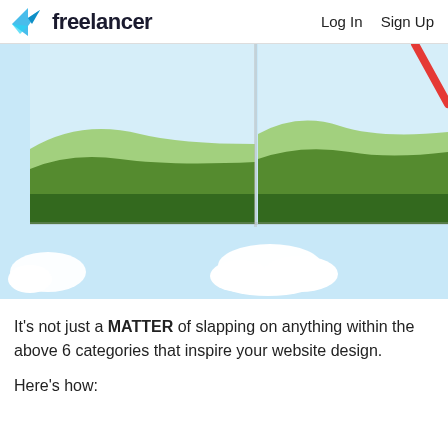freelancer   Log In   Sign Up
[Figure (illustration): Screenshot of a webpage showing two side-by-side landscape illustrations with green hills and light blue sky, partially cropped with a red diagonal arrow visible in upper right corner. Below the main panels is a portion of a light blue sky with white clouds.]
It's not just a MATTER of slapping on anything within the above 6 categories that inspire your website design.
Here's how: